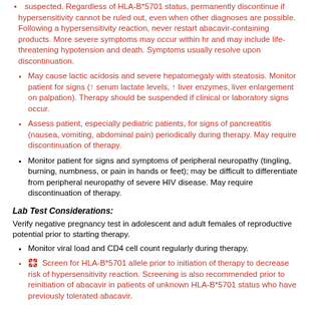suspected. Regardless of HLA-B*5701 status, permanently discontinue if hypersensitivity cannot be ruled out, even when other diagnoses are possible. Following a hypersensitivity reaction, never restart abacavir-containing products. More severe symptoms may occur within hr and may include life-threatening hypotension and death. Symptoms usually resolve upon discontinuation.
May cause lactic acidosis and severe hepatomegaly with steatosis. Monitor patient for signs (↑ serum lactate levels, ↑ liver enzymes, liver enlargement on palpation). Therapy should be suspended if clinical or laboratory signs occur.
Assess patient, especially pediatric patients, for signs of pancreatitis (nausea, vomiting, abdominal pain) periodically during therapy. May require discontinuation of therapy.
Monitor patient for signs and symptoms of peripheral neuropathy (tingling, burning, numbness, or pain in hands or feet); may be difficult to differentiate from peripheral neuropathy of severe HIV disease. May require discontinuation of therapy.
Lab Test Considerations:
Verify negative pregnancy test in adolescent and adult females of reproductive potential prior to starting therapy.
Monitor viral load and CD4 cell count regularly during therapy.
Screen for HLA-B*5701 allele prior to initiation of therapy to decrease risk of hypersensitivity reaction. Screening is also recommended prior to reinitiation of abacavir in patients of unknown HLA-B*5701 status who have previously tolerated abacavir.